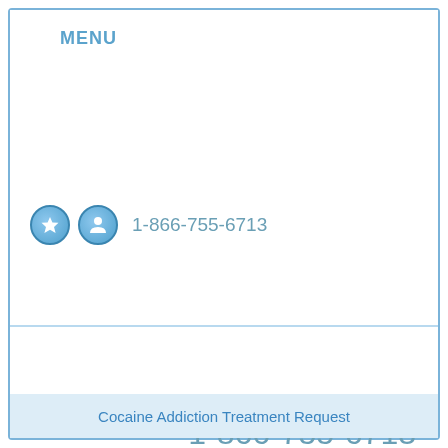MENU
1-866-755-6713
1-866-755-6713
Cocaine Addiction Treatment Request